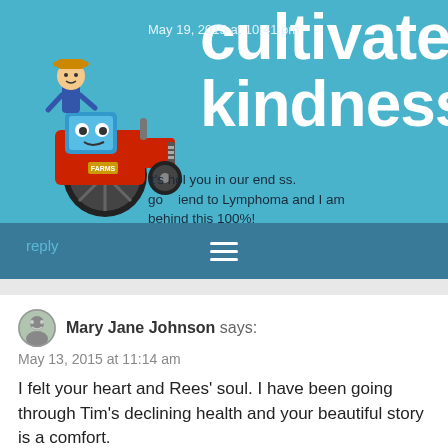[Figure (illustration): Cartoon boy on a red tractor with 'cultivate kindness' text overlay on a blue background]
May 19, 2015 at 10:41 pm
it's hol you in our end ss. good end to Lymphoma and I am behind this 100%!
reply
Mary Jane Johnson says:
May 13, 2015 at 11:14 am
I felt your heart and Rees' soul. I have been going through Tim's declining health and your beautiful story is a comfort.
reply